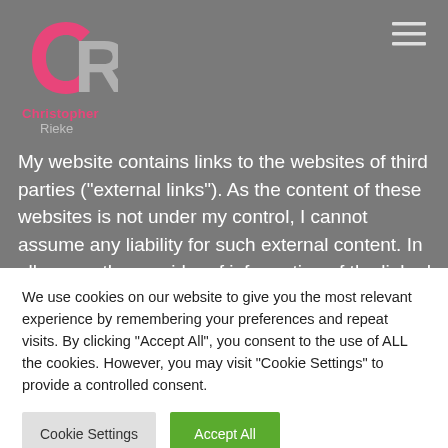[Figure (logo): Christopher Rieke logo — stylized CR monogram in gray/pink with text 'Christopher' in pink and 'Rieke' in gray below]
My website contains links to the websites of third parties ("external links"). As the content of these websites is not under my control, I cannot assume any liability for such external content. In all cases, the provider of information of the linked websites is liable for the content and accuracy of the information provided. At the point in time
We use cookies on our website to give you the most relevant experience by remembering your preferences and repeat visits. By clicking "Accept All", you consent to the use of ALL the cookies. However, you may visit "Cookie Settings" to provide a controlled consent.